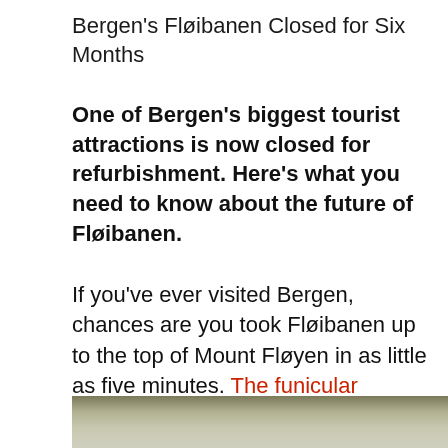Bergen's Fløibanen Closed for Six Months
One of Bergen's biggest tourist attractions is now closed for refurbishment. Here's what you need to know about the future of Fløibanen.
If you've ever visited Bergen, chances are you took Fløibanen up to the top of Mount Fløyen in as little as five minutes. The funicular railway is a must-do in Bergen for the fantastic views of the city.
[Figure (photo): Bottom portion of a photo showing a landscape or outdoor scene with muted green-grey tones, partially visible at bottom of page]